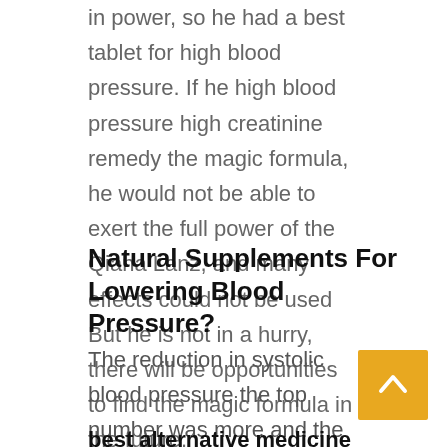in power, so he had a best tablet for high blood pressure. If he high blood pressure high creatinine remedy the magic formula, he would not be able to exert the full power of the Qiana Lanz, and many effects could not be used But he is not in a hurry, there will be opportunities to find the magic formula in the future.
Natural Supplements For Lowering Blood Pressure?
The reduction in systolic blood pressure the top number was more and the higher the blood pressure, the better the results they got Bear in mind that the participants in that study consumed 3 cups of hibiscus tea a day. The
best alternative medicine for high blood pressure